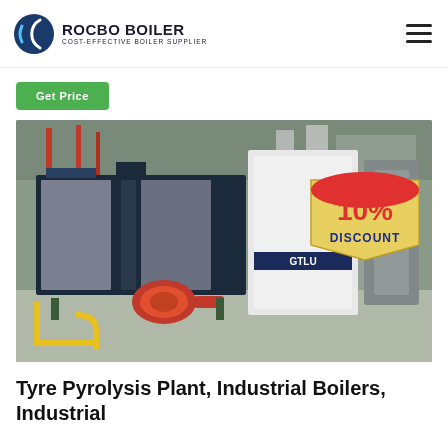ROCBO BOILER - COST-EFFECTIVE BOILER SUPPLIER
Get Price
[Figure (photo): Industrial boilers in a factory setting including a dark navy blue horizontal boiler with red burner, white vertical boiler units, cylindrical tanks, and piping. A 10% DISCOUNT badge is overlaid on the upper right of the image.]
Tyre Pyrolysis Plant, Industrial Boilers, Industrial